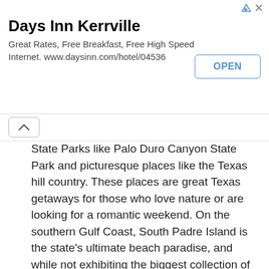[Figure (other): Advertisement banner for Days Inn Kerrville with title, subtitle text, and OPEN button. Icons (ad triangle and X) in top right corner.]
State Parks like Palo Duro Canyon State Park and picturesque places like the Texas hill country. These places are great Texas getaways for those who love nature or are looking for a romantic weekend. On the southern Gulf Coast, South Padre Island is the state's ultimate beach paradise, and while not exhibiting the biggest collection of cheap hotels in Texas, there are enough, but you may opt for one of the vacation rentals, which can be quite affordable in the off season. Those looking to do some Texas fishing will head to South Padre, or to the other prime coastal vacation destinations. There's just so much to do on a Texas vacation, and it's good to know that Texas hotels abound where visitors go most, so you can spend less time worrying about where to stay, and more time enjoying where you go and